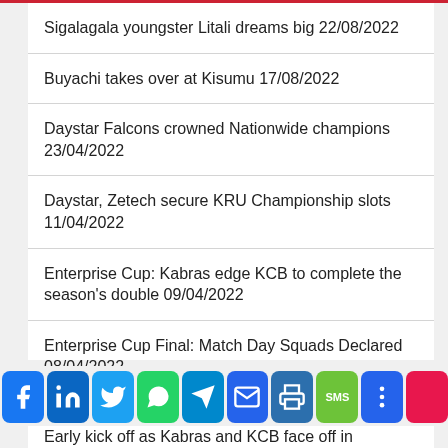Sigalagala youngster Litali dreams big 22/08/2022
Buyachi takes over at Kisumu 17/08/2022
Daystar Falcons crowned Nationwide champions 23/04/2022
Daystar, Zetech secure KRU Championship slots 11/04/2022
Enterprise Cup: Kabras edge KCB to complete the season's double 09/04/2022
Enterprise Cup Final: Match Day Squads Declared 08/04/2022
Early kick off as Kabras and KCB face off in